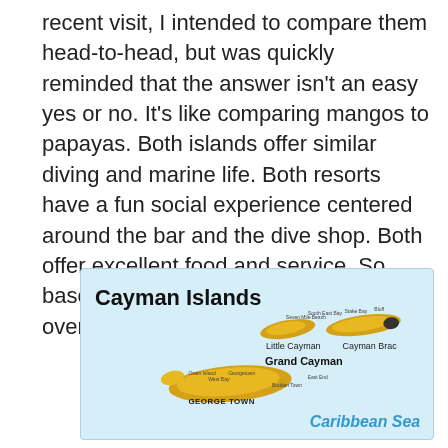recent visit, I intended to compare them head-to-head, but was quickly reminded that the answer isn't an easy yes or no. It's like comparing mangos to papayas. Both islands offer similar diving and marine life. Both resorts have a fun social experience centered around the bar and the dive shop. Both offer excellent food and service. So based on a recent visit, here is my overview and analysis.
[Figure (map): Map of the Cayman Islands showing Grand Cayman with George Town labeled in the lower left area, and Little Cayman and Cayman Brac shown in the upper right. The background is light blue representing the Caribbean Sea, which is labeled in blue text at the bottom right.]